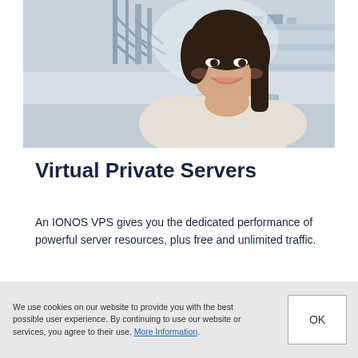[Figure (photo): A smiling young woman with dark hair resting her chin on her hand, photographed indoors with a bright architectural background featuring metal beams and shelves.]
Virtual Private Servers
An IONOS VPS gives you the dedicated performance of powerful server resources, plus free and unlimited traffic.
We use cookies on our website to provide you with the best possible user experience. By continuing to use our website or services, you agree to their use. More Information.